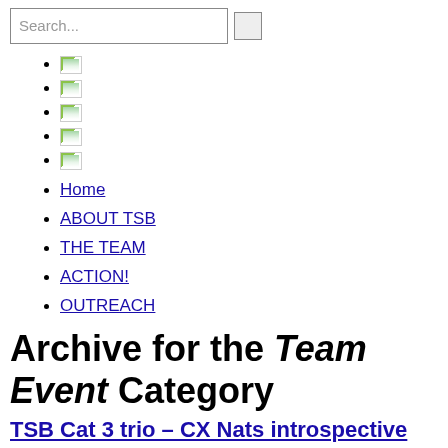[icon]
[icon]
[icon]
[icon]
[icon]
Home
ABOUT TSB
THE TEAM
ACTION!
OUTREACH
Archive for the Team Event Category
TSB Cat 3 trio – CX Nats introspective
By smallbatch on February 27, 2014 / Cyclocross, Racing, Team Event, Video / Leave a comment